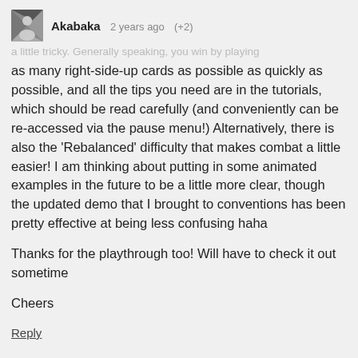Akabaka  2 years ago  (+2)
a little tricky.  Generally speaking, you win by playing as many right-side-up cards as possible as quickly as possible, and all the tips you need are in the tutorials, which should be read carefully (and conveniently can be re-accessed via the pause menu!)  Alternatively, there is also the 'Rebalanced' difficulty that makes combat a little easier!   I am thinking about putting in some animated examples in the future to be a little more clear, though the updated demo that I brought to conventions has been pretty effective at being less confusing haha

Thanks for the playthrough too!  Will have to check it out sometime

Cheers
Reply